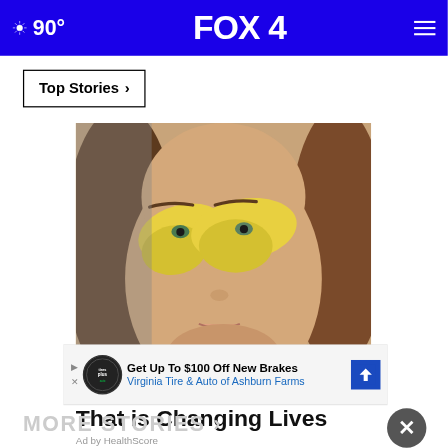90° FOX 4
Top Stories ›
[Figure (photo): Close-up of a young woman's face with yellow under-eye gel patches applied to her eyes and nose bridge area]
Wrinkle Breakthrough That is Changing Lives
Ad by HealthScore
[Figure (screenshot): Advertisement banner: Get Up To $100 Off New Brakes — Virginia Tire & Auto of Ashburn Farms, with Tires Plus Auto logo and blue arrow icon]
MORE STORIES ›